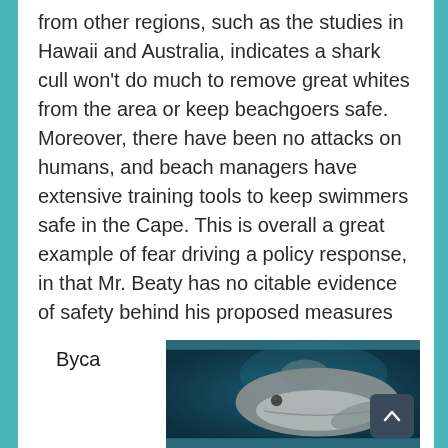from other regions, such as the studies in Hawaii and Australia, indicates a shark cull won't do much to remove great whites from the area or keep beachgoers safe. Moreover, there have been no attacks on humans, and beach managers have extensive training tools to keep swimmers safe in the Cape. This is overall a great example of fear driving a policy response, in that Mr. Beaty has no citable evidence of safety behind his proposed measures
Bycatch
[Figure (photo): Underwater photo of a large marine animal (shark or similar), viewed from below/side, against a dark blue-green ocean background.]
Byca